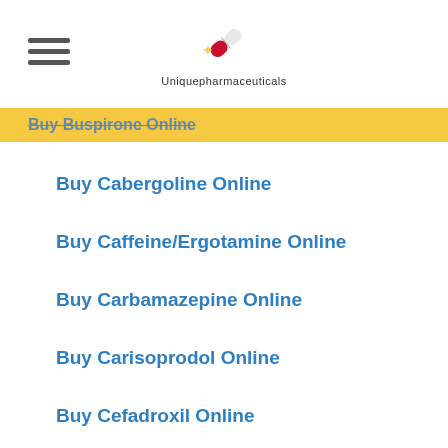Uniquepharmaceuticals
Buy Buspirone Online
Buy Cabergoline Online
Buy Caffeine/Ergotamine Online
Buy Carbamazepine Online
Buy Carisoprodol Online
Buy Cefadroxil Online
Buy Cefixime Online
Buy Celecoxib Online